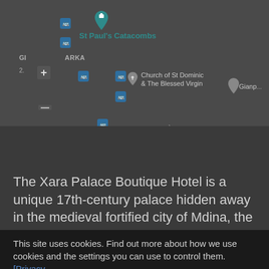[Figure (screenshot): Google Maps screenshot showing area around Mdina, Malta with St Paul's Catacombs pin, Church of St Dominic & The Blessed Virgin marker, bus stop icons, zoom controls, Google logo, and map attribution bar with 'Keyboard shortcuts', 'Map data ©2022', 'Terms of Use'.]
The Xara Palace Boutique Hotel is a unique 17th-century palace hidden away in the medieval fortified city of Mdina, the old capital of Malta.
This site uses cookies. Find out more about how we use cookies and the settings you can use to control them.